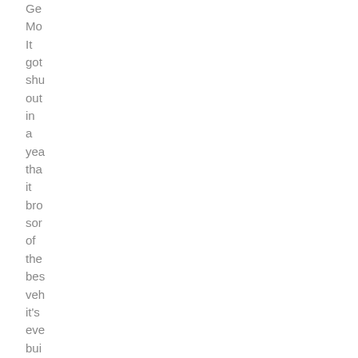Ge Mo It got shu out in a yea tha it bro sor of the bes veh it's eve bui anc I thir